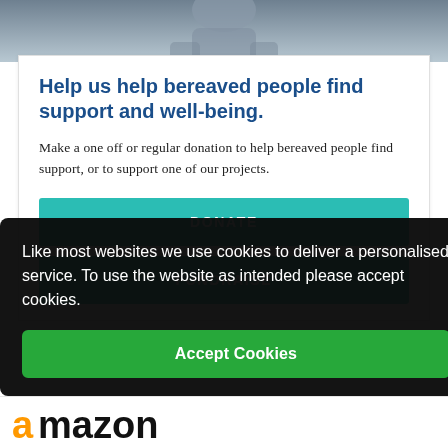[Figure (photo): Close-up photo of a person's face, partially visible, with a gray/blue shirt background. Top portion of a webpage screenshot.]
Help us help bereaved people find support and well-being.
Make a one off or regular donation to help bereaved people find support, or to support one of our projects.
DONATE
FUNDRAISE
Like most websites we use cookies to deliver a personalised service. To use the website as intended please accept cookies.
Accept Cookies
[Figure (logo): Amazon logo with orange 'a' icon and black 'amazon' text]